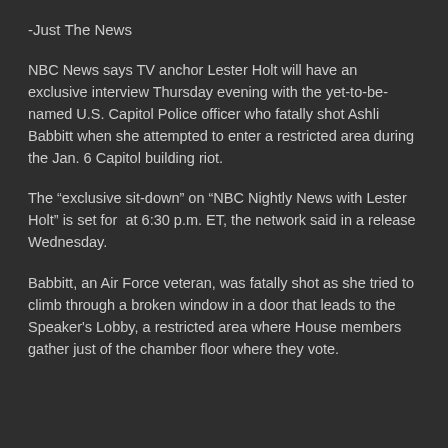-Just The News
NBC News says TV anchor Lester Holt will have an exclusive interview Thursday evening with the yet-to-be-named U.S. Capitol Police officer who fatally shot Ashli Babbitt when she attempted to enter a restricted area during the Jan. 6 Capitol building riot.
The “exclusive sit-down” on “NBC Nightly News with Lester Holt” is set for  at 6:30 p.m. ET, the network said in a release Wednesday.
Babbitt, an Air Force veteran, was fatally shot as she tried to climb through a broken window in a door that leads to the Speaker's Lobby, a restricted area where House members gather just of the chamber floor where they vote.